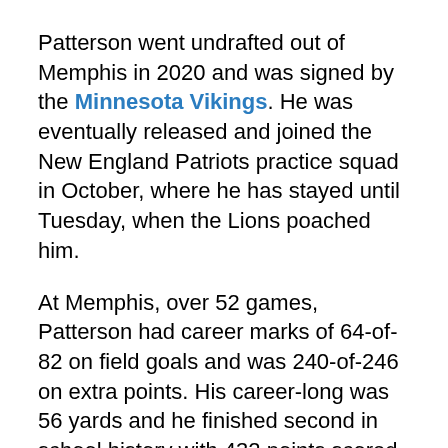Patterson went undrafted out of Memphis in 2020 and was signed by the Minnesota Vikings. He was eventually released and joined the New England Patriots practice squad in October, where he has stayed until Tuesday, when the Lions poached him.
At Memphis, over 52 games, Patterson had career marks of 64-of-82 on field goals and was 240-of-246 on extra points. His career-long was 56 yards and he finished second in school history with 432 points scored.
Patterson has a decent leg but is not a consistently above-average power kicker. In 2020, he struggled in the elements. It resulted in just a 69 percent field goal success rate and left evaluators wondering what happened from the previous season when he